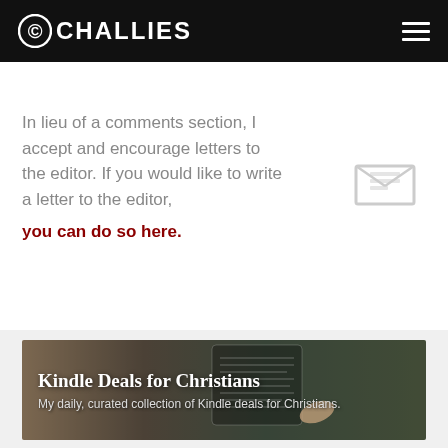CHALLIES
In lieu of a comments section, I accept and encourage letters to the editor. If you would like to write a letter to the editor, you can do so here.
[Figure (illustration): Envelope icon with letter inside, gray outline style]
Kindle Deals for Christians
My daily, curated collection of Kindle deals for Christians.
[Figure (photo): Background photo of a hand holding a Kindle e-reader with text visible on screen, outdoor setting]
discover the